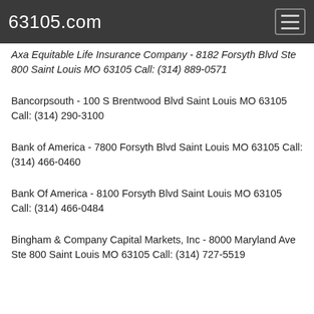63105.com
Axa Equitable Life Insurance Company - 8182 Maryland Blvd Ste 800 Saint Louis MO 63105 Call: (314) 889-0571
Bancorpsouth - 100 S Brentwood Blvd Saint Louis MO 63105 Call: (314) 290-3100
Bank of America - 7800 Forsyth Blvd Saint Louis MO 63105 Call: (314) 466-0460
Bank Of America - 8100 Forsyth Blvd Saint Louis MO 63105 Call: (314) 466-0484
Bingham & Company Capital Markets, Inc - 8000 Maryland Ave Ste 800 Saint Louis MO 63105 Call: (314) 727-5519